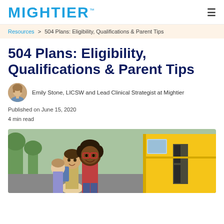MIGHTIER
Resources > 504 Plans: Eligibility, Qualifications & Parent Tips
504 Plans: Eligibility, Qualifications & Parent Tips
Emily Stone, LICSW and Lead Clinical Strategist at Mightier
Published on June 15, 2020
4 min read
[Figure (photo): Children smiling in front of a yellow school bus]